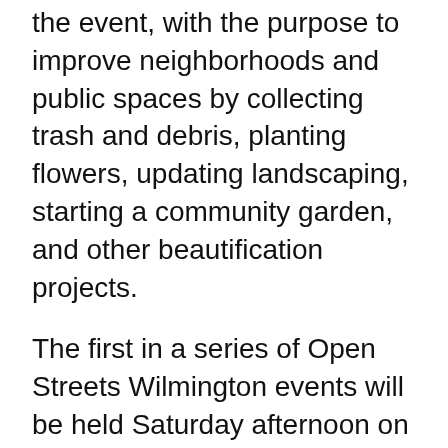the event, with the purpose to improve neighborhoods and public spaces by collecting trash and debris, planting flowers, updating landscaping, starting a community garden, and other beautification projects.
The first in a series of Open Streets Wilmington events will be held Saturday afternoon on Market Street in Downtown Wilmington. The street will be closed to vehicular traffic from 4th through 10th streets between 2 p.m. and 6 p.m. Open Streets creates a safe, car-free environment for residents of all ages and abilities to enjoy time outside walking, biking, and more.
Most of Market Street will be closed off to traffic for this special day so residents can enjoy a healthy slate of activities, including: